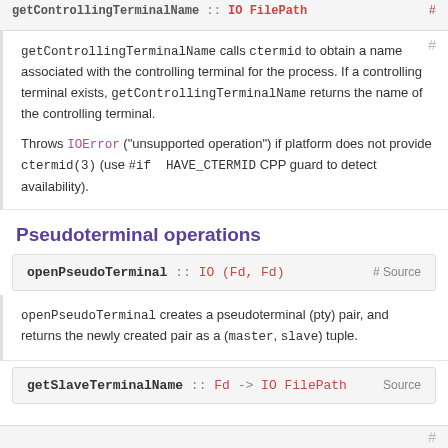getControllingTerminalName calls ctermid to obtain a name associated with the controlling terminal for the process. If a controlling terminal exists, getControllingTerminalName returns the name of the controlling terminal.

Throws IOError ("unsupported operation") if platform does not provide ctermid(3) (use #if HAVE_CTERMID CPP guard to detect availability).
Pseudoterminal operations
openPseudoTerminal :: IO (Fd, Fd)  # Source
openPseudoTerminal creates a pseudoterminal (pty) pair, and returns the newly created pair as a (master, slave) tuple.
getSlaveTerminalName :: Fd -> IO FilePath  Source